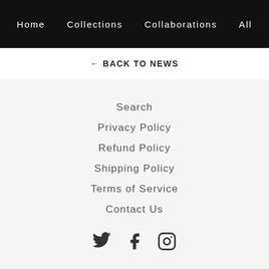Home   Collections   Collaborations   All
← BACK TO NEWS
Search
Privacy Policy
Refund Policy
Shipping Policy
Terms of Service
Contact Us
[Figure (illustration): Social media icons: Twitter bird, Facebook F, Instagram camera]